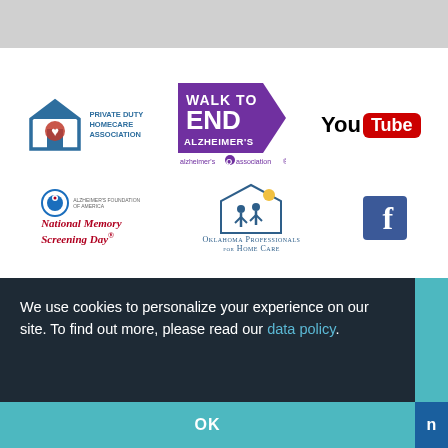[Figure (logo): Private Duty Homecare Association logo with house icon and text]
[Figure (logo): Walk to End Alzheimer's logo with purple arrow and Alzheimer's Association branding]
[Figure (logo): YouTube logo with You in black and Tube in white on red rounded rectangle]
[Figure (logo): Alzheimer's Foundation of America National Memory Screening Day logo]
[Figure (logo): Oklahoma Professionals for Home Care logo with house and people icon]
[Figure (logo): Facebook logo blue square with white f]
We use cookies to personalize your experience on our site. To find out more, please read our data policy.
OK